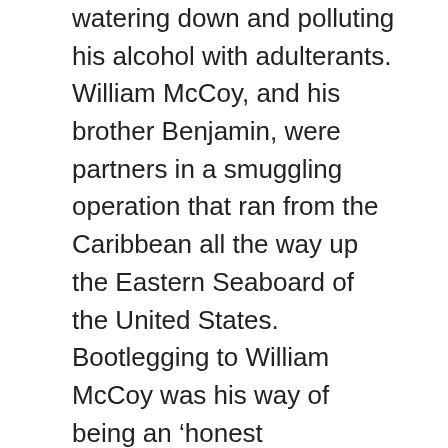watering down and polluting his alcohol with adulterants. William McCoy, and his brother Benjamin, were partners in a smuggling operation that ran from the Caribbean all the way up the Eastern Seaboard of the United States. Bootlegging to William McCoy was his way of being an 'honest lawbreaker'. He found inspiration with John Hancock, the Founding Father whose shipping business was at the center of questioning unfair British taxes and smuggling in the American colonies. William and Benjamin gained a reputation in the early 1910s as skilled craftsmen and boat builders in Florida. They ran a small motor boat service and shipyard, but at the start of Prohibition in 1920, the McCoy family fell on hard times. Boat freights were slowly replaced with the growing trucking industry and the brothers stood at a crossroads. What could they do to earn a living? How could they use their skills to